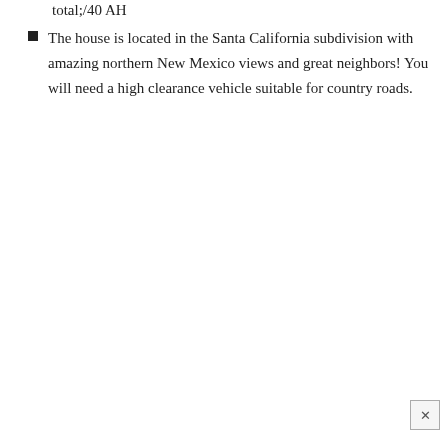total;/40 AH
The house is located in the Santa California subdivision with amazing northern New Mexico views and great neighbors! You will need a high clearance vehicle suitable for country roads.